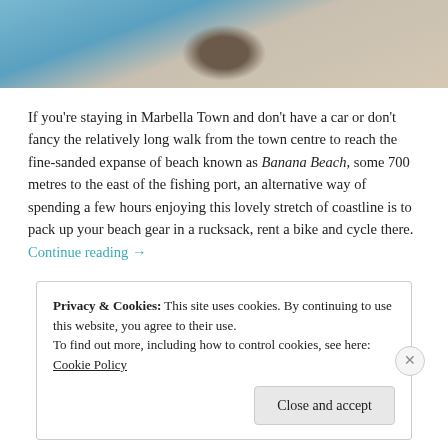[Figure (photo): Top portion of a beach photo showing sand with a backpack/bag and colorful towel or fabric, natural beach scene.]
If you're staying in Marbella Town and don't have a car or don't fancy the relatively long walk from the town centre to reach the fine-sanded expanse of beach known as Banana Beach, some 700 metres to the east of the fishing port, an alternative way of spending a few hours enjoying this lovely stretch of coastline is to pack up your beach gear in a rucksack, rent a bike and cycle there. Continue reading →
Privacy & Cookies: This site uses cookies. By continuing to use this website, you agree to their use.
To find out more, including how to control cookies, see here: Cookie Policy
Close and accept